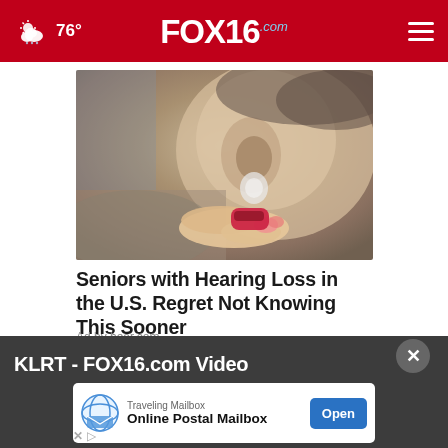76° FOX16.com
[Figure (photo): Close-up photo of a person inserting a small hearing aid into their ear, held between fingers with pink/red nails.]
Seniors with Hearing Loss in the U.S. Regret Not Knowing This Sooner
Ad by hear.com
KLRT - FOX16.com Video
[Figure (screenshot): Ad banner: Traveling Mailbox - Online Postal Mailbox with an Open button]